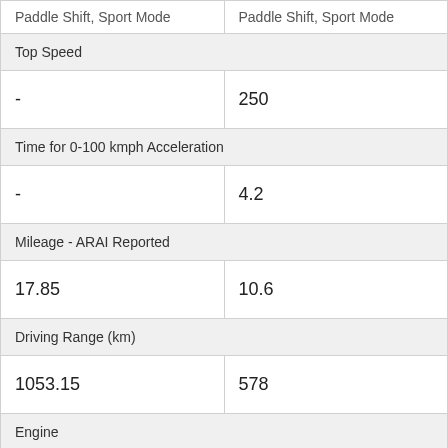| Col1 | Col2 |
| --- | --- |
| Paddle Shift, Sport Mode | Paddle Shift, Sport Mode |
| Top Speed |  |
| - | 250 |
| Time for 0-100 kmph Acceleration |  |
| - | 4.2 |
| Mileage - ARAI Reported |  |
| 17.85 | 10.6 |
| Driving Range (km) |  |
| 1053.15 | 578 |
| Engine |  |
| 1498 cc, 4 Cylinders Inline, 4 Valves/Cylinder, DOHC | 2979 cc, 6 Cylinders Inline, 4 Valves/Cylinder, DOHC |